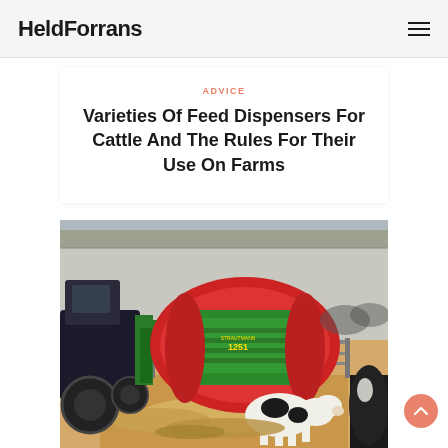HeldForrans
ADVICE
Varieties Of Feed Dispensers For Cattle And The Rules For Their Use On Farms
[Figure (photo): A tractor with a large red and green feed mixer/dispenser machine (labeled 1251) next to a cattle feeding fence, with black and white cows in the background inside a farm building.]